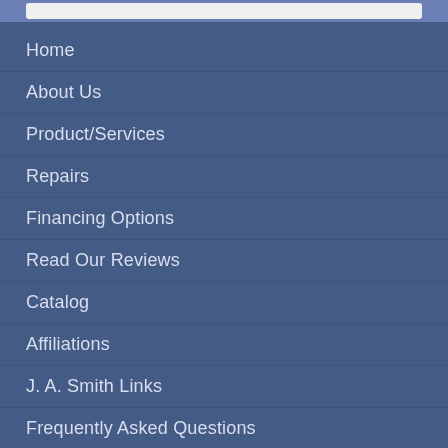Home
About Us
Product/Services
Repairs
Financing Options
Read Our Reviews
Catalog
Affiliations
J. A. Smith Links
Frequently Asked Questions